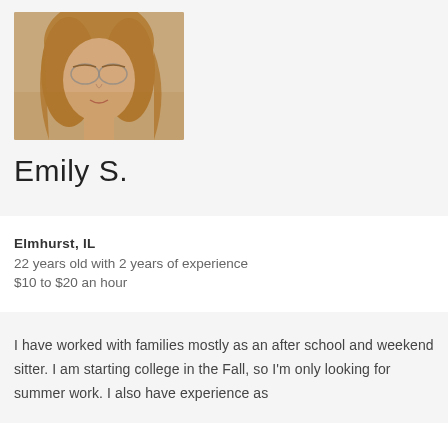[Figure (photo): Profile photo of Emily S., a woman with long blonde hair and glasses, cropped to show face and neck area]
Emily S.
Elmhurst, IL
22 years old with 2 years of experience
$10 to $20 an hour
I have worked with families mostly as an after school and weekend sitter. I am starting college in the Fall, so I'm only looking for summer work. I also have experience as